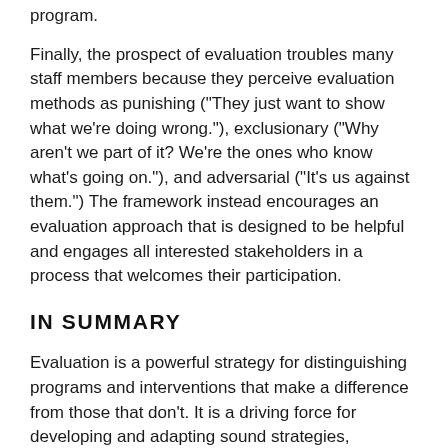program.
Finally, the prospect of evaluation troubles many staff members because they perceive evaluation methods as punishing ("They just want to show what we're doing wrong."), exclusionary ("Why aren't we part of it? We're the ones who know what's going on."), and adversarial ("It's us against them.") The framework instead encourages an evaluation approach that is designed to be helpful and engages all interested stakeholders in a process that welcomes their participation.
IN SUMMARY
Evaluation is a powerful strategy for distinguishing programs and interventions that make a difference from those that don't. It is a driving force for developing and adapting sound strategies, improving existing programs, and demonstrating the results of investments in time and other resources. It also helps determine if what is being done is worth the cost.